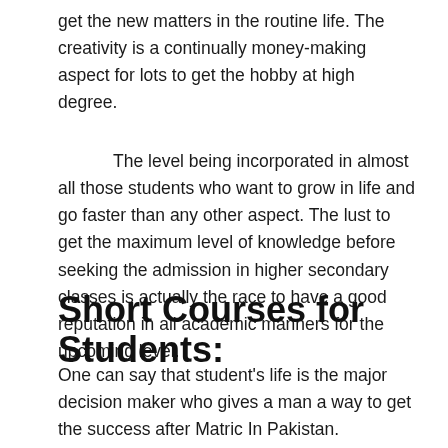get the new matters in the routine life. The creativity is a continually money-making aspect for lots to get the hobby at high degree.
The level being incorporated in almost all those students who want to grow in life and go faster than any other aspect. The lust to get the maximum level of knowledge before seeking the admission in higher secondary classes is actually the race to have a good reputation in all academic manners for the upcoming level.
Short Courses for Students:
One can say that student's life is the major decision maker who gives a man a way to get the success after Matric In Pakistan. Therefore many institutes and colleges in Pakistan now are offering short courses in information